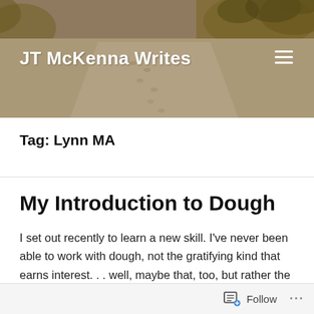[Figure (photo): Beach/dune landscape with sandy path, grass, and footprints — website header background image]
JT McKenna Writes
Tag: Lynn MA
My Introduction to Dough
I set out recently to learn a new skill. I've never been able to work with dough, not the gratifying kind that earns interest. . . well, maybe that, too, but rather the sticky goop that insists on shrinking when you manhandle it with a rolling pin and yell at it to
Follow